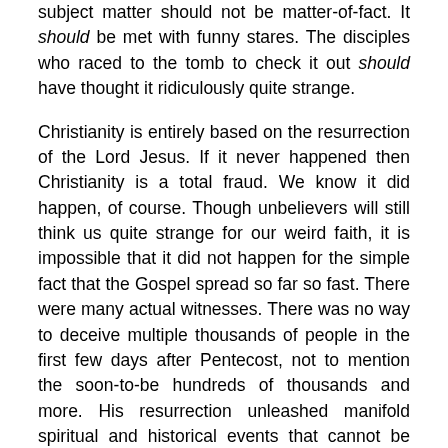subject matter should not be matter-of-fact. It should be met with funny stares. The disciples who raced to the tomb to check it out should have thought it ridiculously quite strange.
Christianity is entirely based on the resurrection of the Lord Jesus. If it never happened then Christianity is a total fraud. We know it did happen, of course. Though unbelievers will still think us quite strange for our weird faith, it is impossible that it did not happen for the simple fact that the Gospel spread so far so fast. There were many actual witnesses. There was no way to deceive multiple thousands of people in the first few days after Pentecost, not to mention the soon-to-be hundreds of thousands and more. His resurrection unleashed manifold spiritual and historical events that cannot be denied. Books have been written about this. Apologetics is based